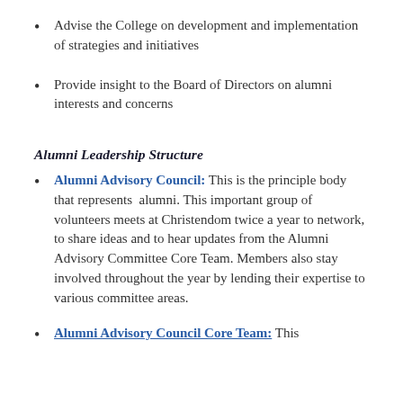Advise the College on development and implementation of strategies and initiatives
Provide insight to the Board of Directors on alumni interests and concerns
Alumni Leadership Structure
Alumni Advisory Council: This is the principle body that represents alumni. This important group of volunteers meets at Christendom twice a year to network, to share ideas and to hear updates from the Alumni Advisory Committee Core Team. Members also stay involved throughout the year by lending their expertise to various committee areas.
Alumni Advisory Council Core Team: This